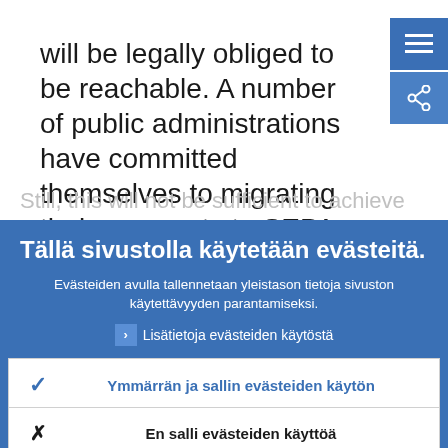will be legally obliged to be reachable. A number of public administrations have committed themselves to migrating their payments to SEPA by the end of this year.
Still, this will not be sufficient to achieve
Tällä sivustolla käytetään evästeitä.
Evästeiden avulla tallennetaan yleistason tietoja sivuston käytettävyyden parantamiseksi.
Lisätietoja evästeiden käytöstä
Ymmärrän ja sallin evästeiden käytön
En salli evästeiden käyttöä